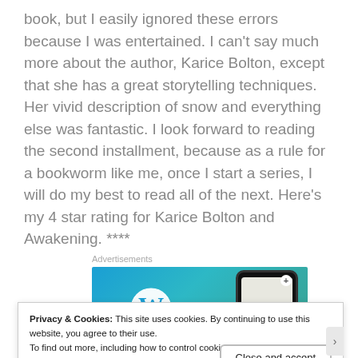book, but I easily ignored these errors because I was entertained. I can't say much more about the author, Karice Bolton, except that she has a great storytelling techniques. Her vivid description of snow and everything else was fantastic. I look forward to reading the second installment, because as a rule for a bookworm like me, once I start a series, I will do my best to read all of the next. Here’s my 4 star rating for Karice Bolton and Awakening. ****
Advertisements
[Figure (other): WordPress advertisement banner with blue-green gradient background, WordPress logo on the left, and a phone mockup on the right.]
Privacy & Cookies: This site uses cookies. By continuing to use this website, you agree to their use.
To find out more, including how to control cookies, see here: Cookie Policy
Close and accept